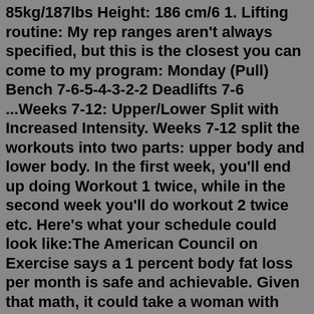85kg/187lbs Height: 186 cm/6 1. Lifting routine: My rep ranges aren't always specified, but this is the closest you can come to my program: Monday (Pull) Bench 7-6-5-4-3-2-2 Deadlifts 7-6 ...Weeks 7-12: Upper/Lower Split with Increased Intensity. Weeks 7-12 split the workouts into two parts: upper body and lower body. In the first week, you'll end up doing Workout 1 twice, while in the second week you'll do workout 2 twice etc. Here's what your schedule could look like:The American Council on Exercise says a 1 percent body fat loss per month is safe and achievable. Given that math, it could take a woman with average body fat about 20 to 26 months to achieve the ...Apr 07, 2021 · 1. Jesse Shand. Age: 26, Height: 6'1'', Weight: 653+ lbs. Age: 28, Height: 6'1'', Weight: 297 lbs. Imagine not leaving your house or seeing your friends for years. Imagine not bathing in nearly that long because your body had grown so enormous that it could no longer fit in the shower. Imagine looking down at the scale and seeing the number 653 ... Vigorous laps or treading – 300 to 444.